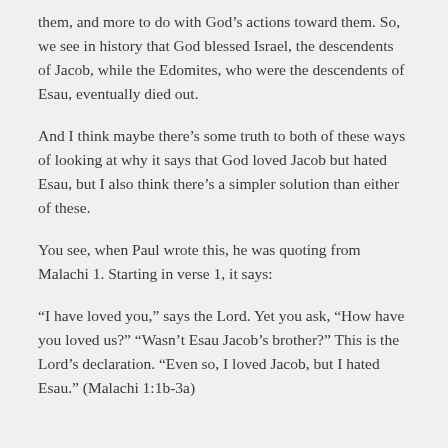them, and more to do with God's actions toward them. So, we see in history that God blessed Israel, the descendents of Jacob, while the Edomites, who were the descendents of Esau, eventually died out.
And I think maybe there's some truth to both of these ways of looking at why it says that God loved Jacob but hated Esau, but I also think there's a simpler solution than either of these.
You see, when Paul wrote this, he was quoting from Malachi 1. Starting in verse 1, it says:
“I have loved you,” says the Lord. Yet you ask, “How have you loved us?” “Wasn’t Esau Jacob’s brother?” This is the Lord’s declaration. “Even so, I loved Jacob, but I hated Esau.” (Malachi 1:1b-3a)